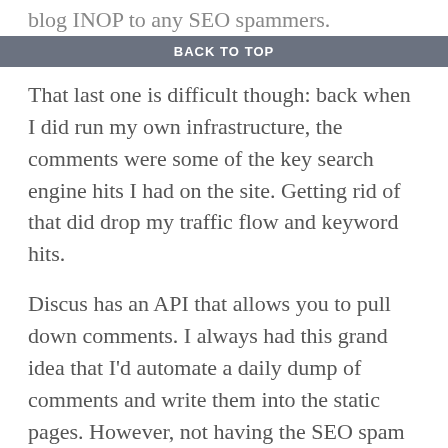blog INOP to any SEO spammers.
BACK TO TOP
That last one is difficult though: back when I did run my own infrastructure, the comments were some of the key search engine hits I had on the site. Getting rid of that did drop my traffic flow and keyword hits.
Discus has an API that allows you to pull down comments. I always had this grand idea that I'd automate a daily dump of comments and write them into the static pages. However, not having the SEO spam has kept that away for now.
At this time though, I don't care any longer (for traffic, nor page views, nor SEO for actual content, etc). The best version of my static site is dropping Javascript completely from it (or at least the Tor versions). Dropping Google Analytics as well, I just